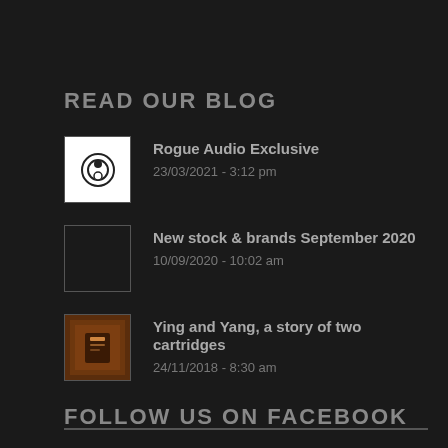READ OUR BLOG
Rogue Audio Exclusive
23/03/2021 - 3:12 pm
New stock & brands September 2020
10/09/2020 - 10:02 am
Ying and Yang, a story of two cartridges
24/11/2018 - 8:30 am
FOLLOW US ON FACEBOOK